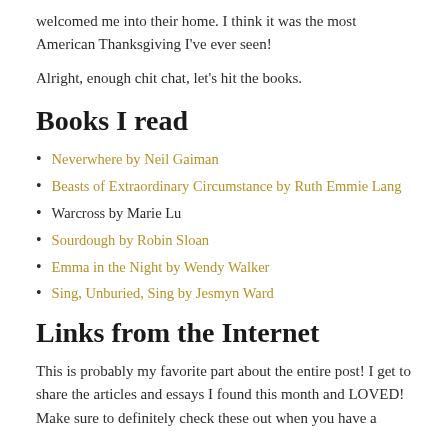welcomed me into their home. I think it was the most American Thanksgiving I've ever seen!
Alright, enough chit chat, let's hit the books.
Books I read
Neverwhere by Neil Gaiman
Beasts of Extraordinary Circumstance by Ruth Emmie Lang
Warcross by Marie Lu
Sourdough by Robin Sloan
Emma in the Night by Wendy Walker
Sing, Unburied, Sing by Jesmyn Ward
Links from the Internet
This is probably my favorite part about the entire post! I get to share the articles and essays I found this month and LOVED! Make sure to definitely check these out when you have a